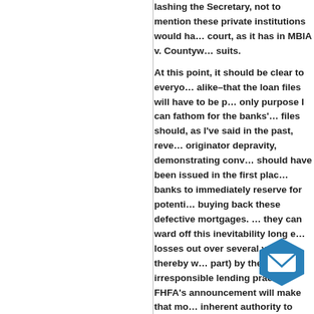lashing the Secretary, not to mention these private institutions would have to court, as it has in MBIA v. Countrywide suits.
At this point, it should be clear to everyone alike–that the loan files will have to be produced. The only purpose I can fathom for the banks' resistance is that files should, as I've said in the past, reveal a level of originator depravity, demonstratingconv securitizations should have been issued in the first place, forcing banks to immediately reserve for potential losses from buying back these defective mortgages. The banks hope they can ward off this inevitability long enough to spread losses out over several years, thereby washing out (at least in part) by their irresponsible lending practices. FHFA's announcement will make that more difficult, as the inherent authority to subpoena these documents under the Housing and Economic Recovery Act of 2008, and do so without the need for litigation, and potentially provide evidence of repurchase obligations to come to regulators right away. For more on this, see the recent post by Manal Mehta on The Baseline Scenario on the investigation into banks' processes for a
[Figure (illustration): Blue hexagonal email/message icon overlay]